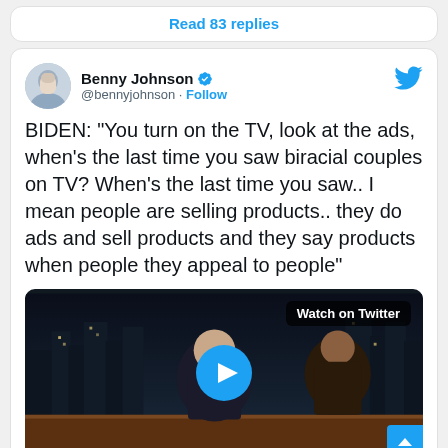Read 83 replies
Benny Johnson @bennyjohnson · Follow
BIDEN: “You turn on the TV, look at the ads, when’s the last time you saw biracial couples on TV? When’s the last time you saw.. I mean people are selling products.. they do ads and sell products and they say products when people they appeal to people”
[Figure (screenshot): Video thumbnail showing two men in a TV studio setting with city skyline background. A blue play button overlay is centered. 'Watch on Twitter' label appears in top right.]